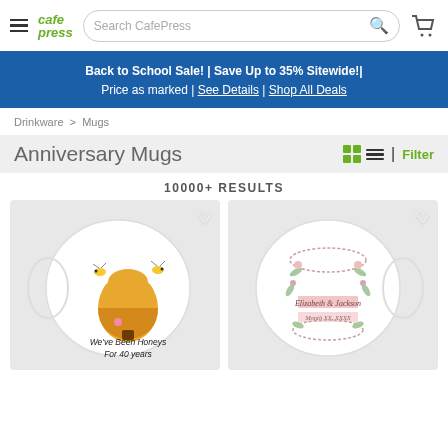CafePress — Search CafePress
Back to School Sale! | Save Up to 35% Sitewide!| Price as marked | See Details | Shop All Deals
Drinkware > Mugs
Anniversary Mugs
10000+ RESULTS
[Figure (photo): White coffee mug with bees and beehive illustration, text reads 'We've Been Honeys For 40 years']
[Figure (photo): White coffee mug with floral wreath design and customized text 'Elizabeth & Jackson, Month XX, XXXX']